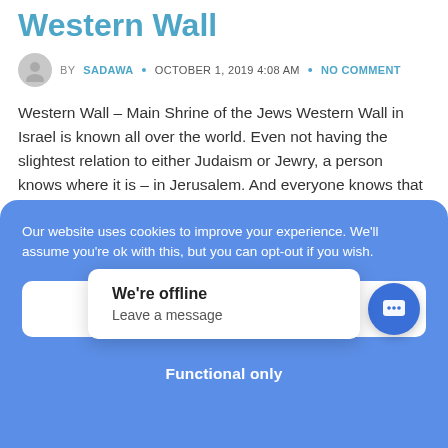Western Wall
BY SADAWA • OCTOBER 1, 2019 4:08 AM • NO COMMENT
Western Wall – Main Shrine of the Jews Western Wall in Israel is known all over the world. Even not having the slightest relation to either Judaism or Jewry, a person knows where it is – in Jerusalem. And everyone knows that the Western Wall of the Temple Mount is the most important shrine of [...]
Our website uses cookies to improve your experience. We'll assume you're ok with this, but you can opt-out if you wish.
We're offline
Leave a message
Functional only